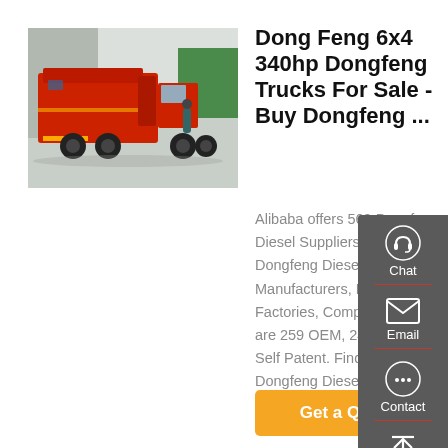[Figure (photo): Red Dongfeng garbage truck / special vehicle photographed in a loading bay area, side and rear view showing the truck body and chassis.]
Dong Feng 6x4 340hp Dongfeng Trucks For Sale - Buy Dongfeng ...
Alibaba offers 569 Dongfeng Diesel Suppliers, and Dongfeng Diesel Manufacturers, Distributors, Factories, Companies. There are 259 OEM, 246 ODM, 71 Self Patent. Find high quality Dongfeng Diesel Suppliers on Alibaba.
Get a Quote